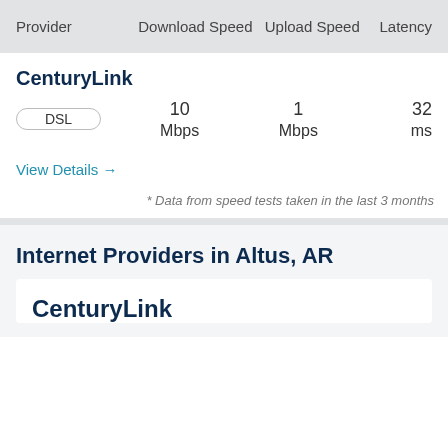| Provider | Download Speed | Upload Speed | Latency |
| --- | --- | --- | --- |
| CenturyLink DSL | 10 Mbps | 1 Mbps | 32 ms |
View Details →
* Data from speed tests taken in the last 3 months
Internet Providers in Altus, AR
CenturyLink